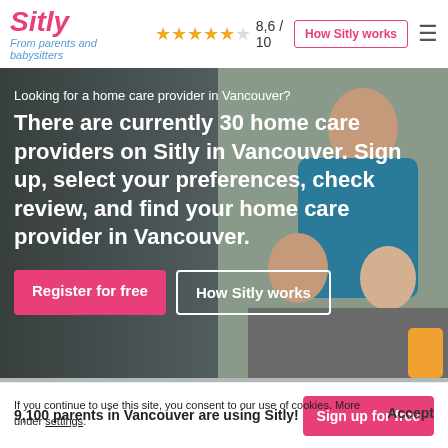Sitly — From parents and babysitters — 8,6/10 — How Sitly works
Looking for a home care provider in Vancouver?
There are currently 30 home care providers on Sitly in Vancouver. Sign up, select your preferences, check review, and find your home care provider in Vancouver.
Register for free
How Sitly works
If you continue to use this site, you consent to our use of cookies. More under settings.
9,100 parents in Vancouver are using Sitly!
Sign up for free